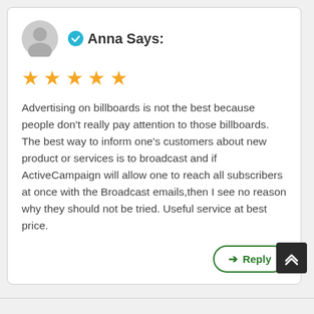Anna Says:
[Figure (illustration): Five gold star rating icons]
Advertising on billboards is not the best because people don't really pay attention to those billboards. The best way to inform one's customers about new product or services is to broadcast and if ActiveCampaign will allow one to reach all subscribers at once with the Broadcast emails,then I see no reason why they should not be tried. Useful service at best price.